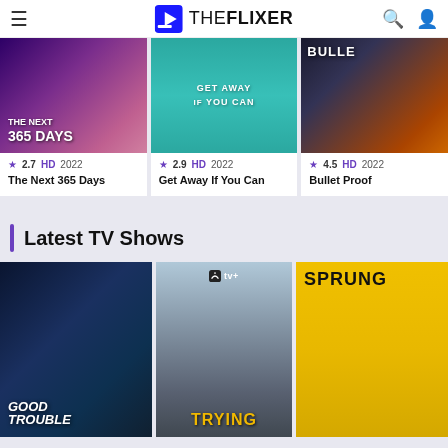THE FLIXER
[Figure (photo): Movie poster for The Next 365 Days]
★ 2.7  HD  2022
The Next 365 Days
[Figure (photo): Movie poster for Get Away If You Can]
★ 2.9  HD  2022
Get Away If You Can
[Figure (photo): Movie poster for Bullet Proof]
★ 4.5  HD  2022
Bullet Proof
Latest TV Shows
[Figure (photo): TV show poster for Good Trouble]
[Figure (photo): TV show poster for Trying (Apple TV+)]
[Figure (photo): TV show poster for Sprung]